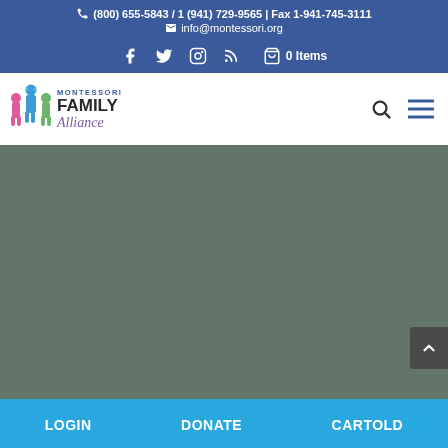(800) 655-5843 / 1 (941) 729-9565 | Fax 1-941-745-3111
info@montessori.org
[Figure (logo): Montessori Family Alliance logo with colorful figures and text]
[Figure (screenshot): Navigation bar with social media icons (Facebook, Twitter, Instagram, RSS), cart with 0 Items, search icon, and hamburger menu]
[Figure (photo): Large muted green/gray content area, likely a hero image placeholder]
LOGIN   DONATE   CARTOLD